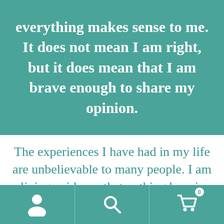everything makes sense to me. It does not mean I am right, but it does mean that I am brave enough to share my opinion.
The experiences I have had in my life are unbelievable to many people. I am living evidence that nothing here is what it seems
[Figure (screenshot): Mobile app navigation bar with user icon, search icon, and cart icon with badge showing 0]